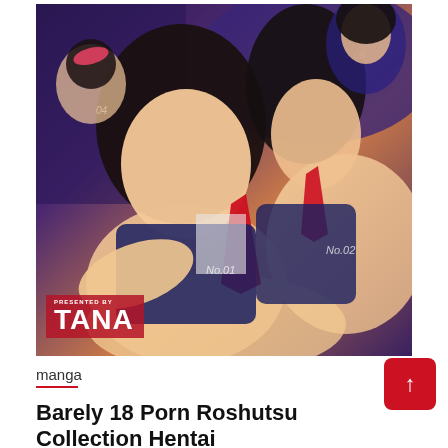[Figure (illustration): Anime/manga style illustration showing multiple female characters in school uniforms with explicit content, with 'PRESENTED BY TANA' text overlay in bottom left corner]
manga
Barely 18 Porn Roshutsu Collection Hentai